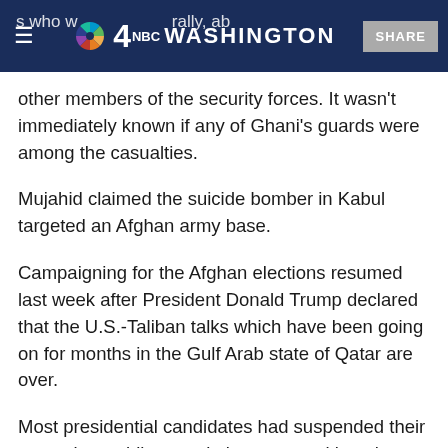4 NBC WASHINGTON | SHARE
other members of the security forces. It wasn't immediately known if any of Ghani's guards were among the casualties.
Mujahid claimed the suicide bomber in Kabul targeted an Afghan army base.
Campaigning for the Afghan elections resumed last week after President Donald Trump declared that the U.S.-Taliban talks which have been going on for months in the Gulf Arab state of Qatar are over.
Most presidential candidates had suspended their campaigns while negotiations were taking place and as the U.S. peace envoy, Zalmay Khalilzad, said a deal was all but signed.